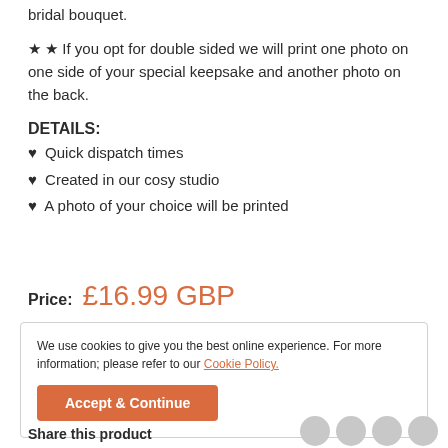bridal bouquet.
★ ★ If you opt for double sided we will print one photo on one side of your special keepsake and another photo on the back.
DETAILS:
♥ Quick dispatch times
♥ Created in our cosy studio
♥ A photo of your choice will be printed
Price:  £16.99 GBP
We use cookies to give you the best online experience. For more information; please refer to our Cookie Policy.
Accept & Continue
Share this product